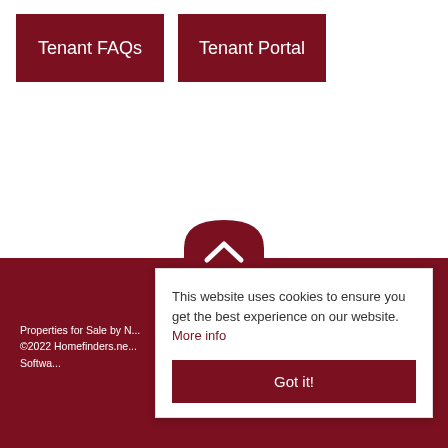Tenant FAQs
Tenant Portal
[Figure (logo): Arch/house-shaped logo icon in dark red with upward chevron, used as site branding]
[Figure (illustration): Social media icons (Facebook, Twitter, Google+) partially visible in dark red on dark red background]
Properties for Sale by ... ©2022 Homefinders.ne... Softwa...
This website uses cookies to ensure you get the best experience on our website. More info
Got it!